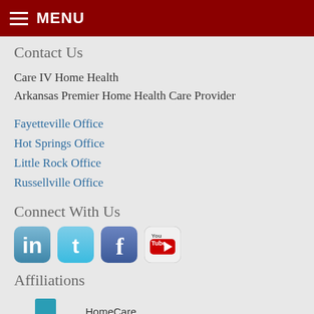MENU
Contact Us
Care IV Home Health
Arkansas Premier Home Health Care Provider
Fayetteville Office
Hot Springs Office
Little Rock Office
Russellville Office
Connect With Us
[Figure (infographic): Social media icons: LinkedIn, Twitter, Facebook, YouTube]
Affiliations
[Figure (logo): HomeCare Association of Arkansas logo with teal cross and EKG symbol]